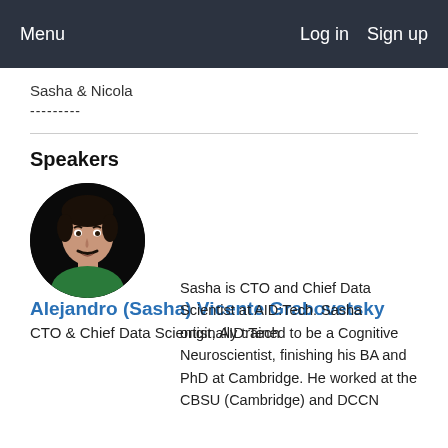Menu   Log in   Sign up
Sasha & Nicola
---------
Speakers
[Figure (photo): Circular portrait photo of Alejandro (Sasha) Vicente Grabovetsky, a man with dark hair and a mustache wearing a green shirt, against a black background.]
Alejandro (Sasha) Vicente Grabovetsky
CTO & Chief Data Scientist, AID:Tech
Sasha is CTO and Chief Data Scientist at AID:Tech. Sasha originally trained to be a Cognitive Neuroscientist, finishing his BA and PhD at Cambridge. He worked at the CBSU (Cambridge) and DCCN